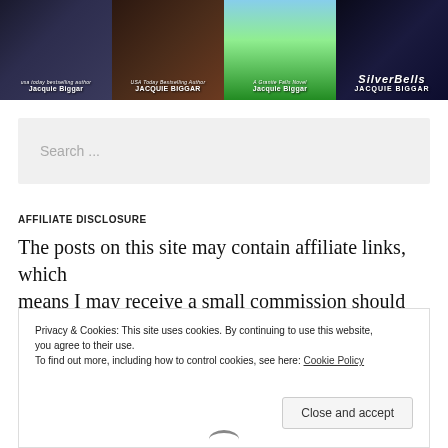[Figure (photo): Four book covers by Jacquie Biggar arranged horizontally. First cover has dark background with a dog. Second cover is dark/brown toned. Third cover shows a green field landscape. Fourth cover shows 'SilverBells' with dark background and snowflake motif.]
Search ...
AFFILIATE DISCLOSURE
The posts on this site may contain affiliate links, which means I may receive a small commission should you make a
Privacy & Cookies: This site uses cookies. By continuing to use this website, you agree to their use.
To find out more, including how to control cookies, see here: Cookie Policy
Close and accept